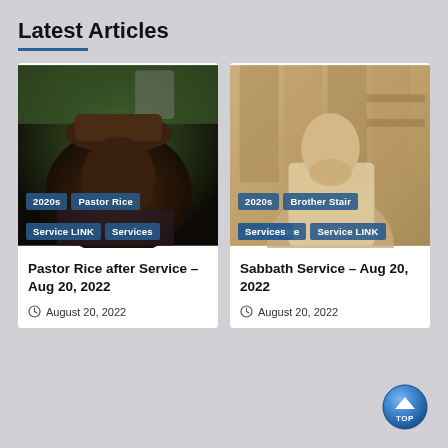Latest Articles
[Figure (photo): Outdoor photo of a Black man wearing a hat, looking upward, dark tones with green foliage background. Tags overlay: 2020s, Pastor Rice, Service LINK, Services.]
[Figure (photo): Sepia-toned photo of an elderly white man with a beard standing indoors. Tags overlay: 2020s, Brother Stair, Pastor Rice, Service LINK, Services.]
Pastor Rice after Service – Aug 20, 2022
August 20, 2022
Sabbath Service – Aug 20, 2022
August 20, 2022